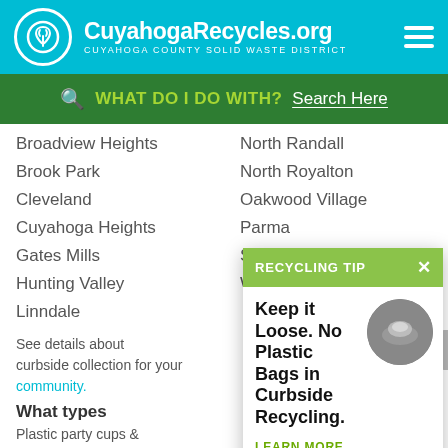CuyahogaRecycles.org — Cuyahoga County Solid Waste District
WHAT DO I DO WITH? Search Here
Broadview Heights
Brook Park
Cleveland
Cuyahoga Heights
Gates Mills
Hunting Valley
Linndale
North Randall
North Royalton
Oakwood Village
Parma
Seven Hills
Westlake
See details about curbside collection for your community.
What types
Plastic party cu... Value, Up & Un...
[Figure (infographic): Recycling Tip popup with green header, close X button, bold text 'Keep it Loose. No Plastic Bags in Curbside Recycling.' with circular photo of a plastic bag in gravel, and LEARN MORE link.]